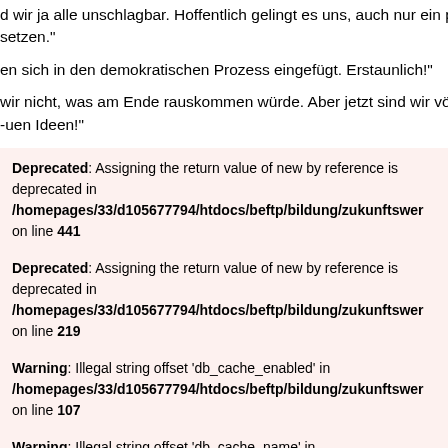d wir ja alle unschlagbar. Hoffentlich gelingt es uns, auch nur ein pa setzen."
en sich in den demokratischen Prozess eingefügt. Erstaunlich!"
wir nicht, was am Ende rauskommen würde. Aber jetzt sind wir völlig -uen Ideen!"
Deprecated: Assigning the return value of new by reference is deprecated in /homepages/33/d105677794/htdocs/beftp/bildung/zukunftswer on line 441
Deprecated: Assigning the return value of new by reference is deprecated in /homepages/33/d105677794/htdocs/beftp/bildung/zukunftswer on line 219
Warning: Illegal string offset 'db_cache_enabled' in /homepages/33/d105677794/htdocs/beftp/bildung/zukunftswer on line 107
Warning: Illegal string offset 'db_cache_name' in /homepages/33/d105677794/htdocs/beftp/bildung/zukunftswer